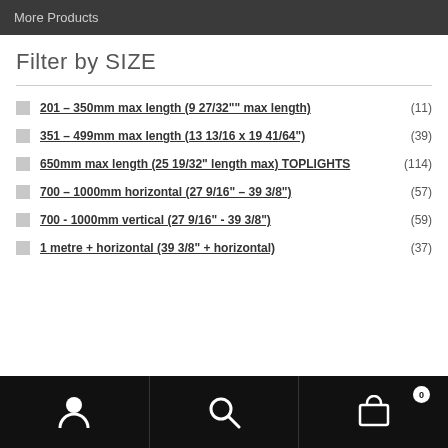More Products
Filter by SIZE
201 – 350mm max length (9 27/32"" max length) (11)
351 – 499mm max length (13 13/16 x 19 41/64") (39)
650mm max length (25 19/32" length max) TOPLIGHTS (114)
700 – 1000mm horizontal (27 9/16" – 39 3/8") (57)
700 - 1000mm vertical (27 9/16" - 39 3/8") (59)
1 metre + horizontal (39 3/8" + horizontal) (37)